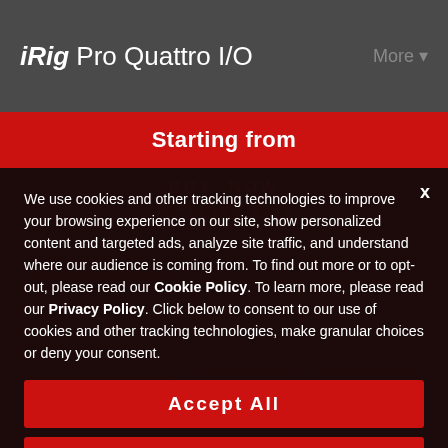iRig Pro Quattro I/O   More
Starting from
We use cookies and other tracking technologies to improve your browsing experience on our site, show personalized content and targeted ads, analyze site traffic, and understand where our audience is coming from. To find out more or to opt-out, please read our Cookie Policy. To learn more, please read our Privacy Policy. Click below to consent to our use of cookies and other tracking technologies, make granular choices or deny your consent.
Accept All
Manage Settings
SPECIAL OFFERS   Deny All   THIS MONTH